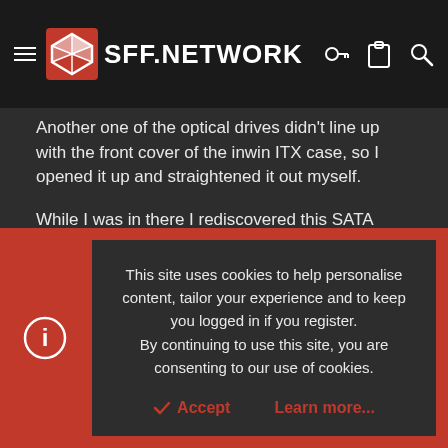SFF.NETWORK
Another one of the optical drives didn't line up with the front cover of the inwin ITX case, so I opened it up and straightened it out myself.
While I was in there I rediscovered this SATA connector and wanted to ask about it. It's got a two wires for power and a SATA cable paired into one header. The two wires for power look like they terminate into something similar to a fan power header, and in this case they're connected to a 4-pin power connector coming off of the SSD's SATA power cable.
Here are pictures:
This site uses cookies to help personalise content, tailor your experience and to keep you logged in if you register.
By continuing to use this site, you are consenting to our use of cookies.
Accept   Learn more...